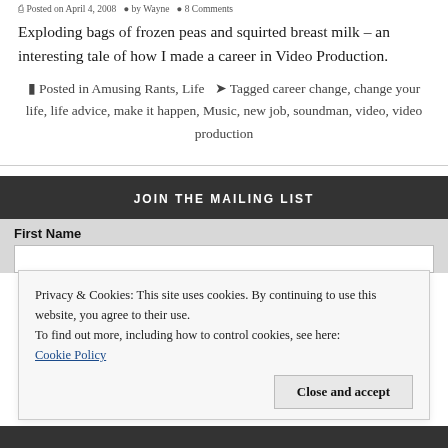Posted on April 4, 2008   by Wayne   8 Comments
Exploding bags of frozen peas and squirted breast milk – an interesting tale of how I made a career in Video Production.
Posted in Amusing Rants, Life  Tagged career change, change your life, life advice, make it happen, Music, new job, soundman, video, video production
JOIN THE MAILING LIST
First Name
Privacy & Cookies: This site uses cookies. By continuing to use this website, you agree to their use.
To find out more, including how to control cookies, see here:
Cookie Policy
Close and accept